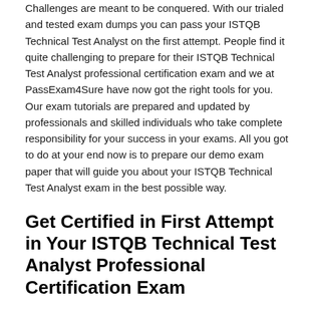Challenges are meant to be conquered. With our trialed and tested exam dumps you can pass your ISTQB Technical Test Analyst on the first attempt. People find it quite challenging to prepare for their ISTQB Technical Test Analyst professional certification exam and we at PassExam4Sure have now got the right tools for you. Our exam tutorials are prepared and updated by professionals and skilled individuals who take complete responsibility for your success in your exams. All you got to do at your end now is to prepare our demo exam paper that will guide you about your ISTQB Technical Test Analyst exam in the best possible way.
Get Certified in First Attempt in Your ISTQB Technical Test Analyst Professional Certification Exam
PassExam4Sure guarantees 100% success in your certification exam. Your hard-earned money is secure with us because we offer a 100% money-back guarantee if you couldn't clear your certification exam by preparing our ISTQB Technical Test Analyst exam dumps. We are concerned about your investment and that's why our exam dumps for ISTQB Technical Test Analyst are curated